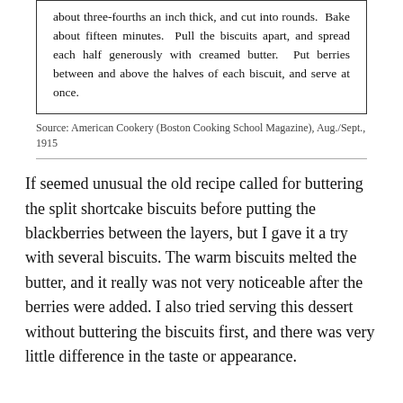about three-fourths an inch thick, and cut into rounds. Bake about fifteen minutes. Pull the biscuits apart, and spread each half generously with creamed butter. Put berries between and above the halves of each biscuit, and serve at once.
Source: American Cookery (Boston Cooking School Magazine), Aug./Sept., 1915
If seemed unusual the old recipe called for buttering the split shortcake biscuits before putting the blackberries between the layers, but I gave it a try with several biscuits. The warm biscuits melted the butter, and it really was not very noticeable after the berries were added. I also tried serving this dessert without buttering the biscuits first, and there was very little difference in the taste or appearance.